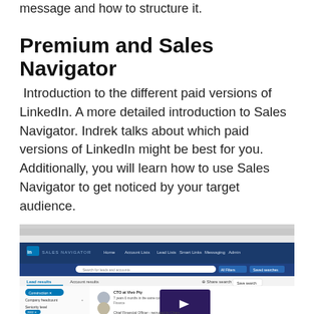message and how to structure it.
Premium and Sales Navigator
Introduction to the different paid versions of LinkedIn. A more detailed introduction to Sales Navigator. Indrek talks about which paid versions of LinkedIn might be best for you. Additionally, you will learn how to use Sales Navigator to get noticed by your target audience.
[Figure (screenshot): Screenshot of LinkedIn Sales Navigator interface showing the Lead results and Account results tabs, search filters on the left, and profile cards with a video player overlay in the center.]